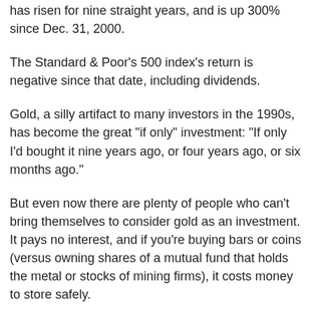has risen for nine straight years, and is up 300% since Dec. 31, 2000.
The Standard & Poor's 500 index's return is negative since that date, including dividends.
Gold, a silly artifact to many investors in the 1990s, has become the great "if only" investment: "If only I'd bought it nine years ago, or four years ago, or six months ago."
But even now there are plenty of people who can't bring themselves to consider gold as an investment. It pays no interest, and if you're buying bars or coins (versus owning shares of a mutual fund that holds the metal or stocks of mining firms), it costs money to store safely.
The fallacy that stocks are safe investments in the long run got a lot of people in trouble this decade. You still have people closing their eyes and hoping for the best in stocks when there is a raging bull market in gold that investors